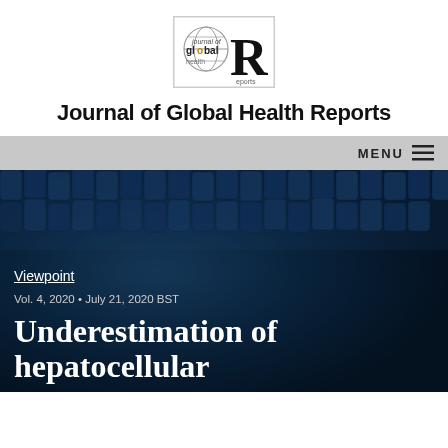[Figure (logo): Journal of Global Health Reports logo with globe icon and large R]
Journal of Global Health Reports
MENU ☰
[Figure (photo): Dark blue background photo of laboratory vials/test tubes arranged in rows]
Viewpoint
Vol. 4, 2020 • July 21, 2020 BST
Underestimation of hepatocellular